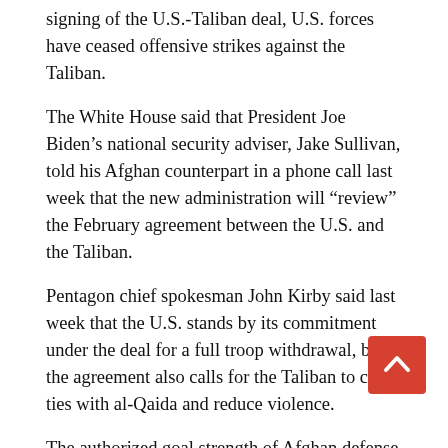signing of the U.S.-Taliban deal, U.S. forces have ceased offensive strikes against the Taliban.
The White House said that President Joe Biden’s national security adviser, Jake Sullivan, told his Afghan counterpart in a phone call last week that the new administration will “review” the February agreement between the U.S. and the Taliban.
Pentagon chief spokesman John Kirby said last week that the U.S. stands by its commitment under the deal for a full troop withdrawal, but the agreement also calls for the Taliban to cut ties with al-Qaida and reduce violence.
The authorized goal strength of Afghan defense forces has been adjusted downward to 208,000 personnel, the SIGAR report said. It had been roughly 227,000 for many years.
Afghan special forces conducted the highest number of ground operations in the last quarter of 2020 in more than a year, NATO said. The 1,152 ground operations were nearly double the number conducted during the same period last